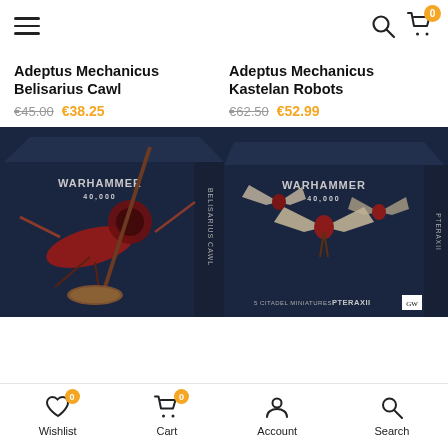Navigation bar with hamburger menu, search icon, cart (0)
Adeptus Mechanicus Belisarius Cawl
€45.00  €38.25
Adeptus Mechanicus Kastelan Robots
€62.50  €52.99
[Figure (photo): Warhammer 40,000 product box for Adeptus Mechanicus Belisarius Cawl miniature, showing a large red mechanical creature on a dark blue background]
[Figure (photo): Warhammer 40,000 product box for Pteraxii miniatures, showing flying mechanical creatures on a dark blue background, labeled '5 Citadel Miniatures Pteraxii']
Wishlist 0  Cart 0  Account  Search